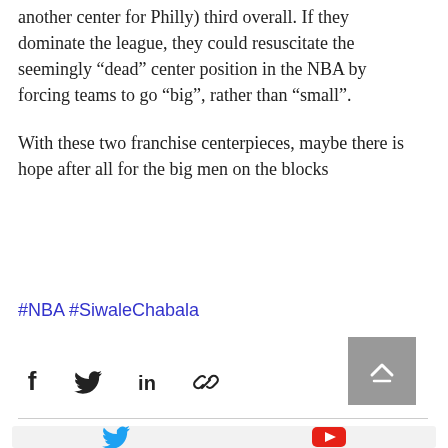another center for Philly) third overall. If they dominate the league, they could resuscitate the seemingly “dead” center position in the NBA by forcing teams to go “big”, rather than “small”.
With these two franchise centerpieces, maybe there is hope after all for the big men on the blocks
#NBA #SiwaleChabala
[Figure (screenshot): Social share bar with Facebook, Twitter, LinkedIn, and link icons, plus a back-to-top button (grey square with up arrow)]
[Figure (screenshot): Bottom section with Twitter bird icon in blue and YouTube play button icon in red on light grey background]